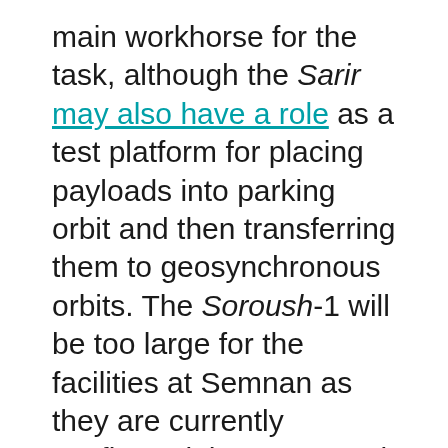main workhorse for the task, although the Sarir may also have a role as a test platform for placing payloads into parking orbit and then transferring them to geosynchronous orbits. The Soroush-1 will be too large for the facilities at Semnan as they are currently configured, however, and thus the plan is to launch it from a new, yet-to-be-built launch center in Chabahar. Chabahar will offer multiple advantages over Semnan, including closer proximity to the equator and an ability to launch more toward the east, both of which will reduce the amount of energy required to reach GEO, and its proximity to